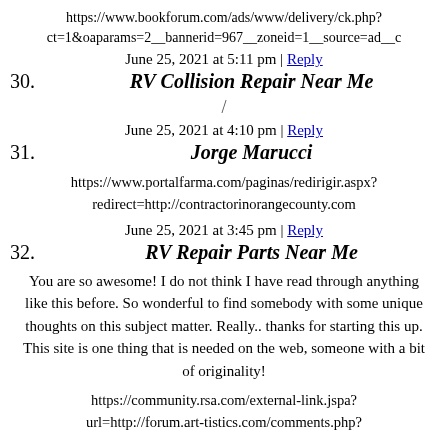https://www.bookforum.com/ads/www/delivery/ck.php?ct=1&oaparams=2__bannerid=967__zoneid=1__source=ad__c
June 25, 2021 at 5:11 pm | Reply
30. RV Collision Repair Near Me
/
June 25, 2021 at 4:10 pm | Reply
31. Jorge Marucci
https://www.portalfarma.com/paginas/redirigir.aspx?redirect=http://contractorinorangecounty.com
June 25, 2021 at 3:45 pm | Reply
32. RV Repair Parts Near Me
You are so awesome! I do not think I have read through anything like this before. So wonderful to find somebody with some unique thoughts on this subject matter. Really.. thanks for starting this up. This site is one thing that is needed on the web, someone with a bit of originality!
https://community.rsa.com/external-link.jspa?url=http://forum.art-tistics.com/comments.php?